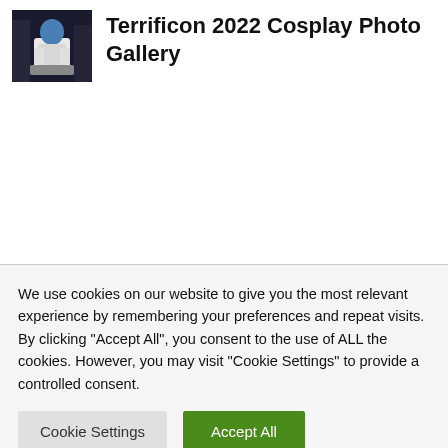[Figure (photo): Thumbnail photo of a costumed figure in white suit with blue-painted face/head at Terrificon 2022]
Terrificon 2022 Cosplay Photo Gallery
We use cookies on our website to give you the most relevant experience by remembering your preferences and repeat visits. By clicking "Accept All", you consent to the use of ALL the cookies. However, you may visit "Cookie Settings" to provide a controlled consent.